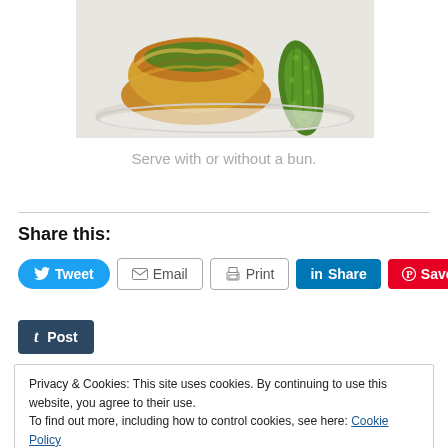[Figure (photo): Photo of a baked burger or quiche on a white plate with a pickle/cucumber alongside it, partially cropped at top.]
Serve with or without a bun.
Share this:
[Figure (other): Social sharing buttons: Tweet, Email, Print, Share (LinkedIn), Save (Pinterest), Post (Tumblr)]
Privacy & Cookies: This site uses cookies. By continuing to use this website, you agree to their use.
To find out more, including how to control cookies, see here: Cookie Policy